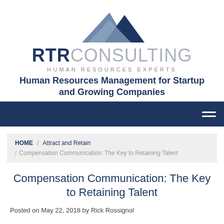[Figure (logo): RTR Consulting mountain logo — three overlapping mountain peaks in dark navy, medium blue, and light grey-blue tones]
RTR CONSULTING HUMAN RESOURCES EXPERTS
Human Resources Management for Startup and Growing Companies
HOME / Attract and Retain / Compensation Communication: The Key to Retaining Talent
Compensation Communication: The Key to Retaining Talent
Posted on May 22, 2018 by Rick Rossignol